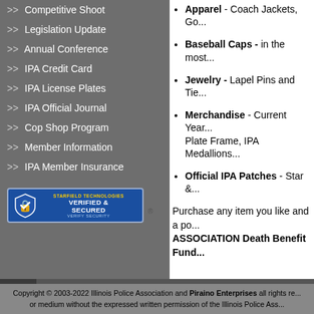>> Competitive Shoot
>> Legislation Update
>> Annual Conference
>> IPA Credit Card
>> IPA License Plates
>> IPA Official Journal
>> Cop Shop Program
>> Member Information
>> IPA Member Insurance
[Figure (logo): Starfield Technologies Verified & Secured badge with shield icon]
Apparel - Coach Jackets, Go...
Baseball Caps - in the most...
Jewelry - Lapel Pins and Tie...
Merchandise - Current Year... Plate Frame, IPA Medallions...
Official IPA Patches - Star &...
Purchase any item you like and a po... ASSOCIATION Death Benefit Fund...
Copyright © 2003-2022 Illinois Police Association and Piraino Enterprises all rights re... or medium without the expressed written permission of the Illinois Police Ass...